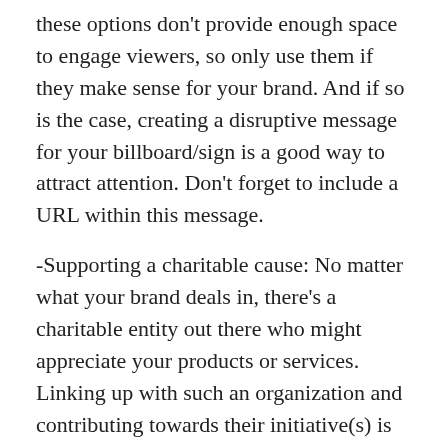these options don't provide enough space to engage viewers, so only use them if they make sense for your brand. And if so is the case, creating a disruptive message for your billboard/sign is a good way to attract attention. Don't forget to include a URL within this message.
-Supporting a charitable cause: No matter what your brand deals in, there's a charitable entity out there who might appreciate your products or services. Linking up with such an organization and contributing towards their initiative(s) is not only a great way to increase your exposure, but also give back to the community as well.
As you can see, offline advertising has now become a crucial part of running a successful DelawareSEO.online optimization campaign.